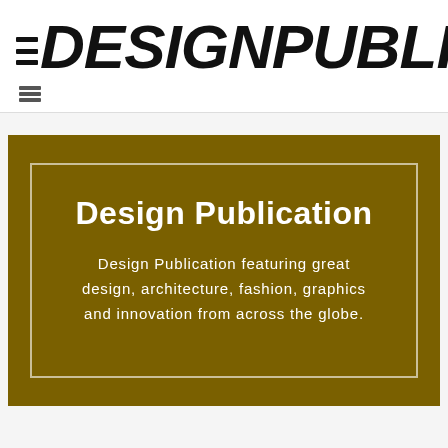≡DESIGNPUBLICATION
[Figure (infographic): Golden/dark yellow rectangular banner with inner white border containing the title 'Design Publication' and descriptive text about design, architecture, fashion, graphics and innovation from across the globe.]
Design Publication
Design Publication featuring great design, architecture, fashion, graphics and innovation from across the globe.